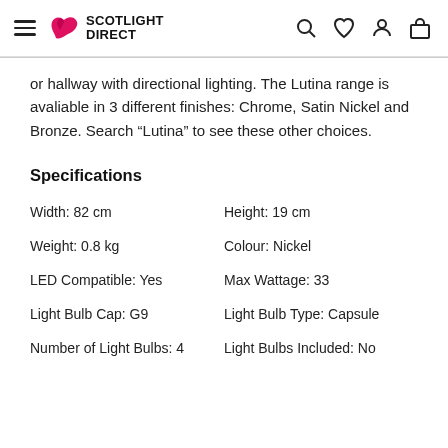[Figure (logo): Scotlight Direct logo with hamburger menu and navigation icons (search, wishlist, account, cart)]
or hallway with directional lighting. The Lutina range is avaliable in 3 different finishes: Chrome, Satin Nickel and Bronze. Search “Lutina” to see these other choices.
Specifications
| Width: 82 cm | Height: 19 cm |
| Weight: 0.8 kg | Colour: Nickel |
| LED Compatible: Yes | Max Wattage: 33 |
| Light Bulb Cap: G9 | Light Bulb Type: Capsule |
| Number of Light Bulbs: 4 | Light Bulbs Included: No |